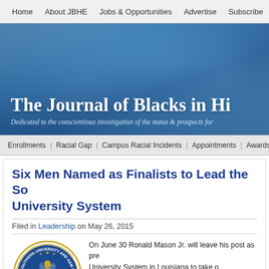Home | About JBHE | Jobs & Opportunities | Advertise | Subscribe | Contact
[Figure (screenshot): Banner image for The Journal of Blacks in Higher Education with blue photographic background]
The Journal of Blacks in Hi[gher Education]
Dedicated to the conscientious investigation of the status & prospects for...
Enrollments | Racial Gap | Campus Racial Incidents | Appointments | Awards | Grants | Bo...
Six Men Named as Finalists to Lead the Southern University System
Filed in Leadership on May 26, 2015
[Figure (logo): Southern University and A&M College circular seal/logo in blue and gold]
On June 30 Ronald Mason Jr. will leave his post as pre[sident of the Southern] University System in Louisiana to take o[n the presidency of the] University of the District of Columbia (S[outhern's search] committee assigned the duty for finding a[...] pool of six finalists. The new president of the Southe[rn...]